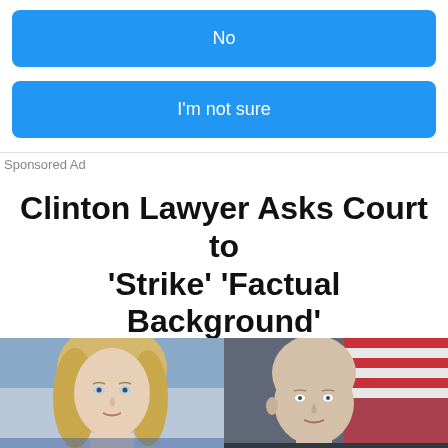No
I'm not sure
Sponsored Ad
Clinton Lawyer Asks Court to ‘Strike’ ‘Factual Background’ in Durham’s Latest Filing
Jon Dougherty · February 16, 2022
[Figure (photo): Two photographs side by side: on the left, a blonde woman (Hillary Clinton), on the right, a bald man against a flag background (John Durham).]